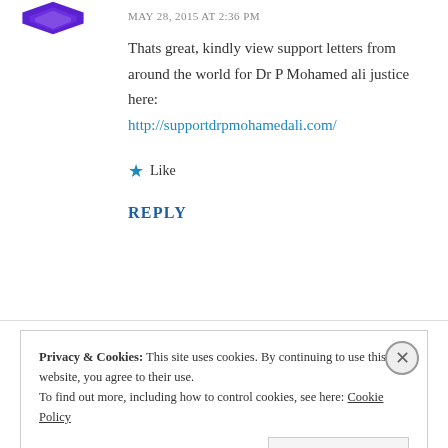[Figure (illustration): Purple diamond/shield avatar icon at the top left]
MAY 28, 2015 AT 2:36 PM
Thats great, kindly view support letters from around the world for Dr P Mohamed ali justice here: http://supportdrpmohamedali.com/
★ Like
REPLY
Privacy & Cookies: This site uses cookies. By continuing to use this website, you agree to their use. To find out more, including how to control cookies, see here: Cookie Policy
Close and accept